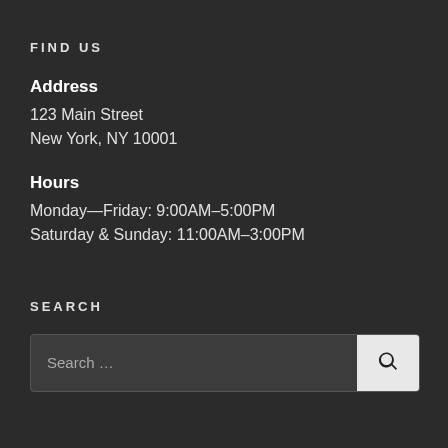FIND US
Address
123 Main Street
New York, NY 10001
Hours
Monday—Friday: 9:00AM–5:00PM
Saturday & Sunday: 11:00AM–3:00PM
SEARCH
Search …